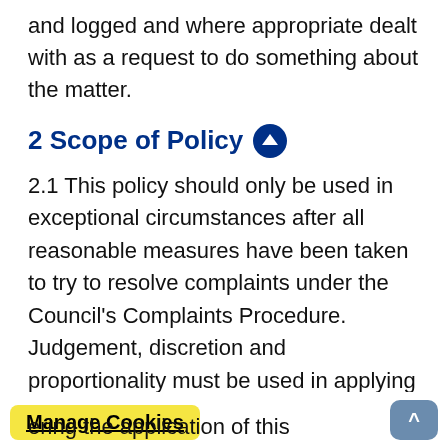and logged and where appropriate dealt with as a request to do something about the matter.
2 Scope of Policy
2.1 This policy should only be used in exceptional circumstances after all reasonable measures have been taken to try to resolve complaints under the Council's Complaints Procedure. Judgement, discretion and proportionality must be used in applying the criteria to identify potential unreasonably persistent or vexatious complainants and in deciding on the appropriate action to be taken in specific cases.
ering the application of this